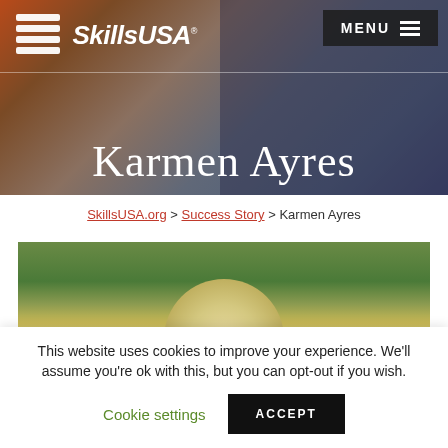[Figure (screenshot): SkillsUSA website header with logo, MENU button, and hero image showing blurred background of people. 'Karmen Ayres' displayed as large title text over the hero image.]
SkillsUSA.org > Success Story > Karmen Ayres
[Figure (photo): Photo of Karmen Ayres, a person with blonde hair, photographed outdoors with green foliage in background.]
This website uses cookies to improve your experience. We'll assume you're ok with this, but you can opt-out if you wish. Cookie settings ACCEPT